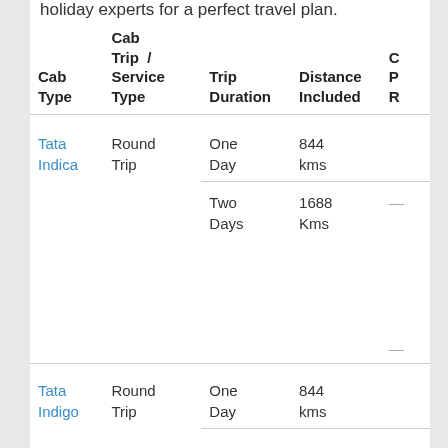holiday experts for a perfect travel plan.
| Cab Type | Cab Trip / Service Type | Trip Duration | Distance Included | C P R |
| --- | --- | --- | --- | --- |
| Tata Indica | Round Trip | One Day | 844 kms |  |
|  |  | Two Days | 1688 Kms | — |
| Tata Indigo | Round Trip | One Day | 844 kms |  |
|  |  |  |  | — |